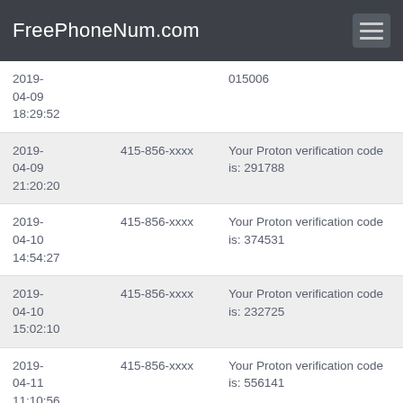FreePhoneNum.com
| Date | Phone | Message |
| --- | --- | --- |
| 2019-04-09
18:29:52 |  | 015006 |
| 2019-04-09
21:20:20 | 415-856-xxxx | Your Proton verification code is: 291788 |
| 2019-04-10
14:54:27 | 415-856-xxxx | Your Proton verification code is: 374531 |
| 2019-04-10
15:02:10 | 415-856-xxxx | Your Proton verification code is: 232725 |
| 2019-04-11
11:10:56 | 415-856-xxxx | Your Proton verification code is: 556141 |
| 2019-04-11
12:25:07 | 415-856-xxxx | Your Proton verification code is: 379643 |